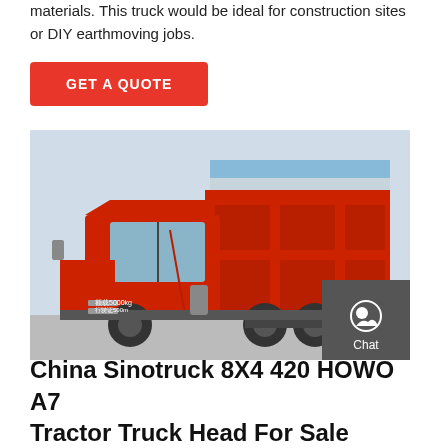materials. This truck would be ideal for construction sites or DIY earthmoving jobs.
GET A QUOTE
[Figure (photo): Red Sinotruck HOWO A7 dump truck with large red cargo body, parked outdoors with a building in the background. Sidebar with Chat, Email, and Contact icons overlaid on the right side.]
China Sinotruck 8X4 420 HOWO A7 Tractor Truck Head For Sale